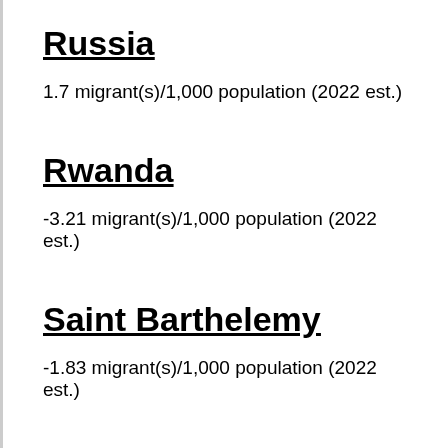Russia
1.7 migrant(s)/1,000 population (2022 est.)
Rwanda
-3.21 migrant(s)/1,000 population (2022 est.)
Saint Barthelemy
-1.83 migrant(s)/1,000 population (2022 est.)
Saint Helena, Ascension and